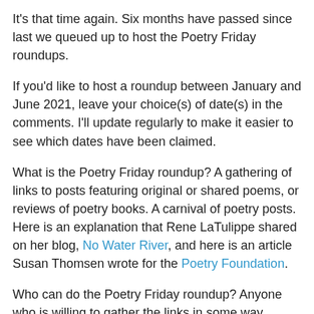It's that time again. Six months have passed since last we queued up to host the Poetry Friday roundups.
If you'd like to host a roundup between January and June 2021, leave your choice(s) of date(s) in the comments. I'll update regularly to make it easier to see which dates have been claimed.
What is the Poetry Friday roundup? A gathering of links to posts featuring original or shared poems, or reviews of poetry books. A carnival of poetry posts. Here is an explanation that Rene LaTulippe shared on her blog, No Water River, and here is an article Susan Thomsen wrote for the Poetry Foundation.
Who can do the Poetry Friday roundup? Anyone who is willing to gather the links in some way, shape, or form (Mr. Linky, "old school" in the comments-->annotated in the post, or ???) on the Friday of your choice. If you are new to the Poetry Friday community, jump right in, but perhaps choose a date later on so that we can spend some time getting to know each other.